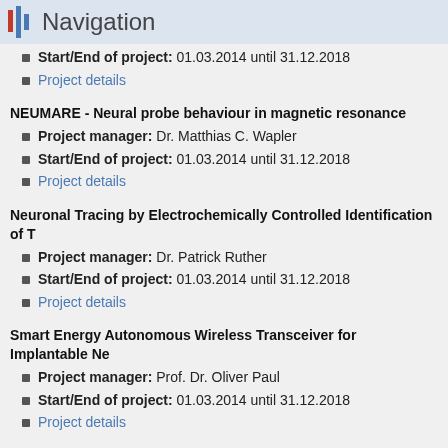Navigation
Start/End of project: 01.03.2014 until 31.12.2018
Project details
NEUMARE - Neural probe behaviour in magnetic resonance
Project manager: Dr. Matthias C. Wapler
Start/End of project: 01.03.2014 until 31.12.2018
Project details
Neuronal Tracing by Electrochemically Controlled Identification of T
Project manager: Dr. Patrick Ruther
Start/End of project: 01.03.2014 until 31.12.2018
Project details
Smart Energy Autonomous Wireless Transceiver for Implantable Ne
Project manager: Prof. Dr. Oliver Paul
Start/End of project: 01.03.2014 until 31.12.2018
Project details
WOLDOR - Waveguide-based Optrodes with integrated Laser Diodes Recording